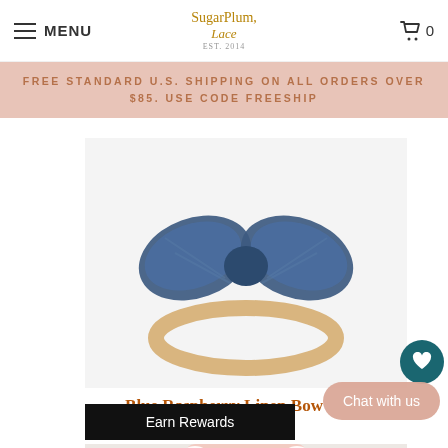MENU | SugarPlum Lace | 🛒 0
FREE STANDARD U.S. SHIPPING ON ALL ORDERS OVER $85. USE CODE FREESHIP
[Figure (photo): Blue navy linen bow headband on a nylon headband, photographed from above on a white background]
Blue Raspberry Linen Bow
14.00
[Figure (photo): Pink baby romper with white bow tie straps and smiley face embroidery detail]
Chat with us
Earn Rewards